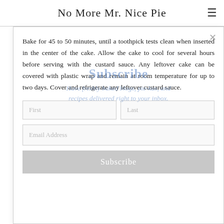No More Mr. Nice Pie
Bake for 45 to 50 minutes, until a toothpick tests clean when inserted in the center of the cake. Allow the cake to cool for several hours before serving with the custard sauce. Any leftover cake can be covered with plastic wrap and remain at room temperature for up to two days. Cover and refrigerate any leftover custard sauce.
Subscribe
Have freshly baked blogs, pie-kus, and recipes delivered right to your inbox.
First
Last
Email Address
Subscribe